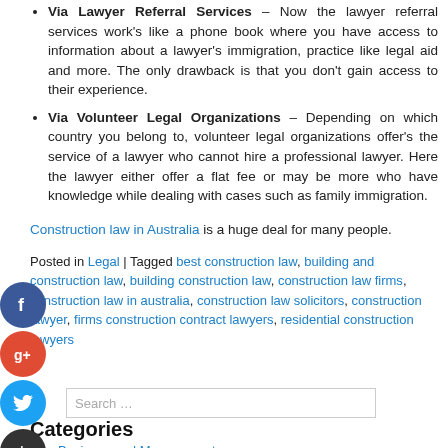Via Lawyer Referral Services – Now the lawyer referral services work's like a phone book where you have access to information about a lawyer's immigration, practice like legal aid and more. The only drawback is that you don't gain access to their experience.
Via Volunteer Legal Organizations – Depending on which country you belong to, volunteer legal organizations offer's the service of a lawyer who cannot hire a professional lawyer. Here the lawyer either offer a flat fee or may be more who have knowledge while dealing with cases such as family immigration.
Construction law in Australia is a huge deal for many people.
Posted in Legal | Tagged best construction law, building and construction law, building construction law, construction law firms, construction law in australia, construction law solicitors, construction lawyer, firms construction contract lawyers, residential construction lawyers
Categories
Business and Management